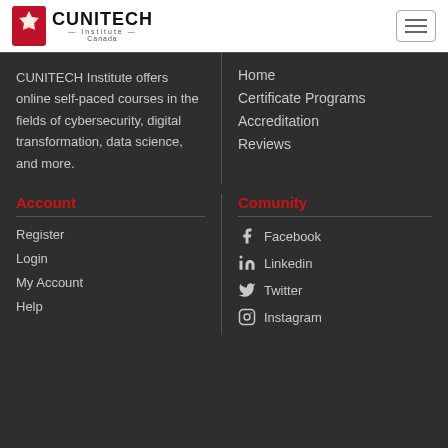[Figure (logo): CUNITECH Institute Canada logo with maple leaf icon]
CUNITECH Institute offers online self-paced courses in the fields of cybersecurity, digital transformation, data science, and more.
Home
Certificate Programs
Accreditation
Reviews
Account
Comunity
Register
Login
My Account
Help
Facebook
Linkedin
Twitter
Instagram